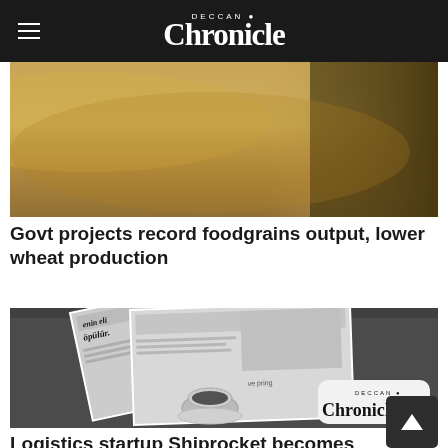Deccan Chronicle
[Figure (photo): Close-up photo of golden/sandy colored foodgrains or wheat]
Govt projects record foodgrains output, lower wheat production
[Figure (photo): Black and white photo of newspapers spread on a table with a coffee cup and a Deccan Chronicle logo overlay in the bottom right corner]
Logistics startup Shiprocket becomes unicorn